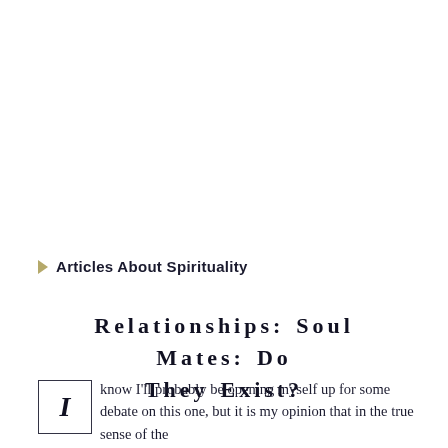Articles About Spirituality
Relationships: Soul Mates: Do They Exist?
I know I'll probably be opening myself up for some debate on this one, but it is my opinion that in the true sense of the word, soul mates do not exist.